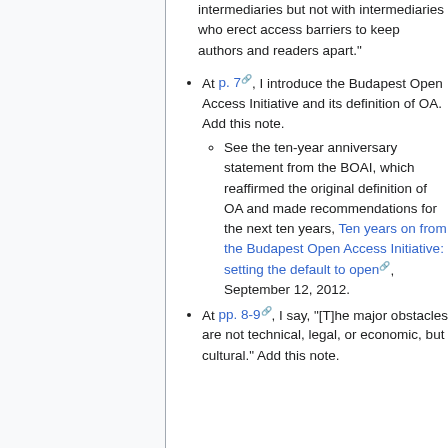intermediaries but not with intermediaries who erect access barriers to keep authors and readers apart."
At p. 7, I introduce the Budapest Open Access Initiative and its definition of OA. Add this note.
See the ten-year anniversary statement from the BOAI, which reaffirmed the original definition of OA and made recommendations for the next ten years, Ten years on from the Budapest Open Access Initiative: setting the default to open, September 12, 2012.
At pp. 8-9, I say, "[T]he major obstacles are not technical, legal, or economic, but cultural." Add this note.